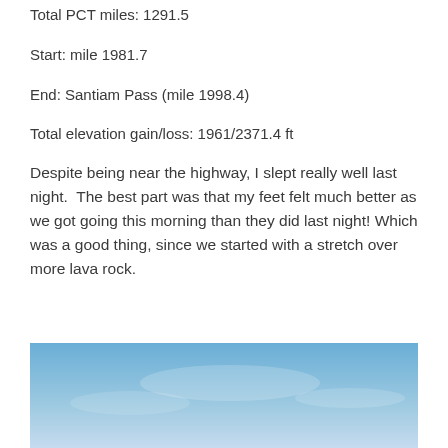Total PCT miles: 1291.5
Start: mile 1981.7
End: Santiam Pass (mile 1998.4)
Total elevation gain/loss: 1961/2371.4 ft
Despite being near the highway, I slept really well last night.  The best part was that my feet felt much better as we got going this morning than they did last night!  Which was a good thing, since we started with a stretch over more lava rock.
[Figure (photo): Photograph showing a blue sky with light clouds, likely taken outdoors on a hiking trail near Santiam Pass.]